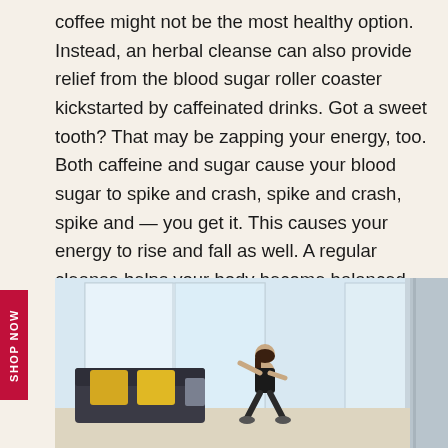coffee might not be the most healthy option. Instead, an herbal cleanse can also provide relief from the blood sugar roller coaster kickstarted by caffeinated drinks. Got a sweet tooth? That may be zapping your energy, too. Both caffeine and sugar cause your blood sugar to spike and crash, spike and crash, spike and — you get it. This causes your energy to rise and fall as well. A regular cleanse helps your body become balanced and more consistent by eliminating these peaks and valleys.
[Figure (photo): A woman exercising / doing squats in a bright modern living room with large windows, a dark grey sofa with yellow cushions visible in the background.]